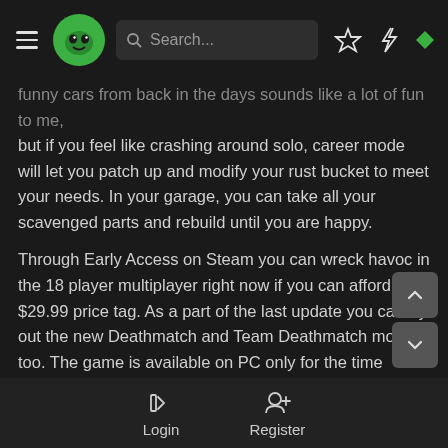Navigation bar with hamburger menu, logo, search bar, star, lightning, diamond icons
funny cars from back in the days sounds like a lot of fun to me, but if you feel like crashing around solo, career mode will let you patch up and modify your rust bucket to meet your needs. In your garage, you can take all your scavenged parts and rebuild until you are happy.
Through Early Access on Steam you can wreck havoc in the 18 player multiplayer right now if you can afford the $29.99 price tag. As a part of the last update you can try out the new Deathmatch and Team Deathmatch modes too. The game is available on PC only for the time being, but lead Game Designer Janne Suur-Nakki is "hoping that we will have a chance to port the game on PS4, Xbox One or both somewhere along the way" as was their intention when they started the failed Kickstarter campaign last year.
Login  Register